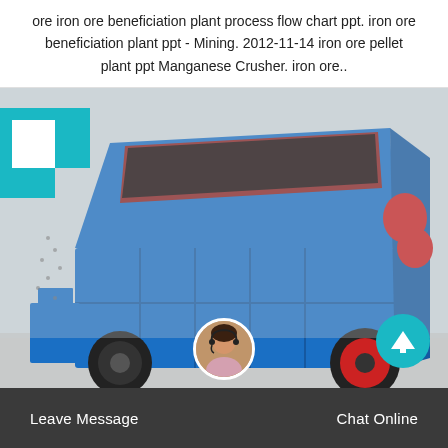ore iron ore beneficiation plant process flow chart ppt. iron ore beneficiation plant ppt - Mining. 2012-11-14 iron ore pellet plant ppt Manganese Crusher. iron ore..
[Figure (photo): Photo of a blue industrial impact crusher machine with red interior hopper, mounted on wheels with red hubs, displayed in a warehouse/factory setting. A teal decorative bracket appears in the top-left corner of the image section.]
Leave Message   Chat Online